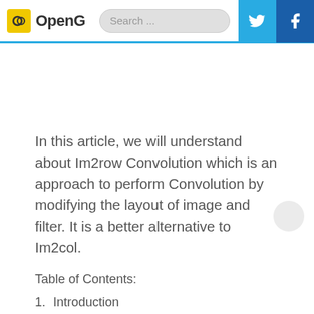OpenG | Search ...
In this article, we will understand about Im2row Convolution which is an approach to perform Convolution by modifying the layout of image and filter. It is a better alternative to Im2col.
Table of Contents:
1. Introduction
2. Im2col Convolution.
2.1 Drawbacks of Im2col Convolution.
3. Im2row Convolution.